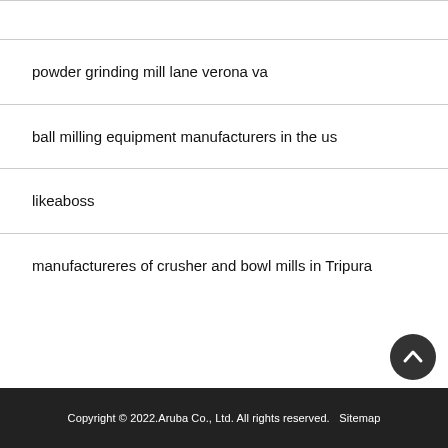powder grinding mill lane verona va
ball milling equipment manufacturers in the us
likeaboss
manufactureres of crusher and bowl mills in Tripura
Copyright © 2022.Aruba Co., Ltd. All rights reserved.   Sitemap